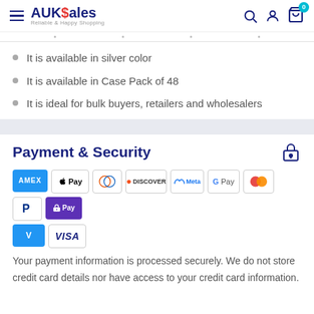AUKSales — Reliable & Happy Shopping
It is available in silver color
It is available in Case Pack of 48
It is ideal for bulk buyers, retailers and wholesalers
Payment & Security
[Figure (logo): Payment method icons: Amex, Apple Pay, Diners Club, Discover, Meta Pay, Google Pay, Mastercard, PayPal, Shop Pay, Venmo, Visa]
Your payment information is processed securely. We do not store credit card details nor have access to your credit card information.